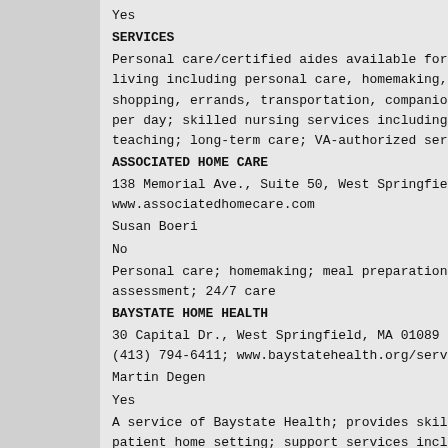Yes
SERVICES
Personal care/certified aides available for living including personal care, homemaking, shopping, errands, transportation, companion per day; skilled nursing services including teaching; long-term care; VA-authorized serv
ASSOCIATED HOME CARE
138 Memorial Ave., Suite 50, West Springfie
www.associatedhomecare.com
Susan Boeri
No
Personal care; homemaking; meal preparation assessment; 24/7 care
BAYSTATE HOME HEALTH
30 Capital Dr., West Springfield, MA 01089
(413) 794-6411; www.baystatehealth.org/servi
Martin Degen
Yes
A service of Baystate Health; provides skil patient home setting; support services incl